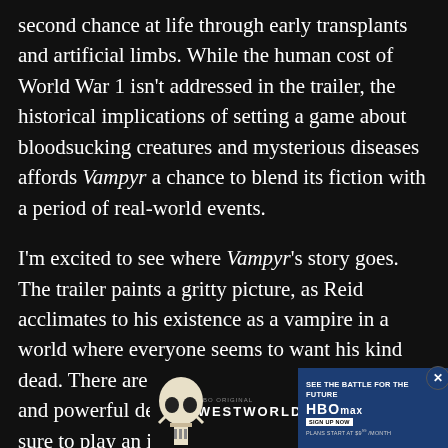second chance at life through early transplants and artificial limbs. While the human cost of World War 1 isn't addressed in the trailer, the historical implications of setting a game about bloodsucking creatures and mysterious diseases affords Vampyr a chance to blend its fiction with a period of real-world events.
I'm excited to see where Vampyr's story goes. The trailer paints a gritty picture, as Reid acclimates to his existence as a vampire in a world where everyone seems to want his kind dead. There are hints of conspiracies, disease, and powerful deities at play, all of which are sure to play an important part... s
[Figure (other): Westworld HBO Max advertisement banner showing a skull graphic with the Westworld logo on a dark background and HBO Max branding on a blue background with 'See the battle for the future' text and 'Plans start at $9.99/month']